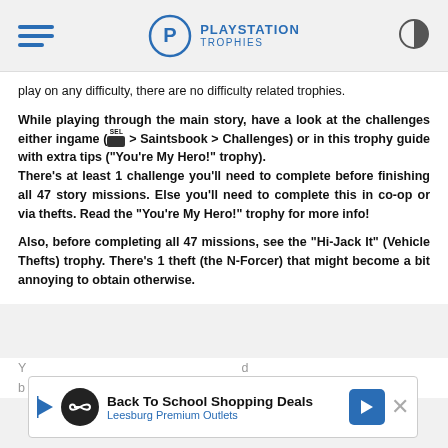PlayStation Trophies
play on any difficulty, there are no difficulty related trophies.
While playing through the main story, have a look at the challenges either ingame (SEL > Saintsbook > Challenges) or in this trophy guide with extra tips ("You're My Hero!" trophy). There's at least 1 challenge you'll need to complete before finishing all 47 story missions. Else you'll need to complete this in co-op or via thefts. Read the "You're My Hero!" trophy for more info!
Also, before completing all 47 missions, see the "Hi-Jack It" (Vehicle Thefts) trophy. There's 1 theft (the N-Forcer) that might become a bit annoying to obtain otherwise.
[Figure (infographic): Advertisement banner: Back To School Shopping Deals - Leesburg Premium Outlets]